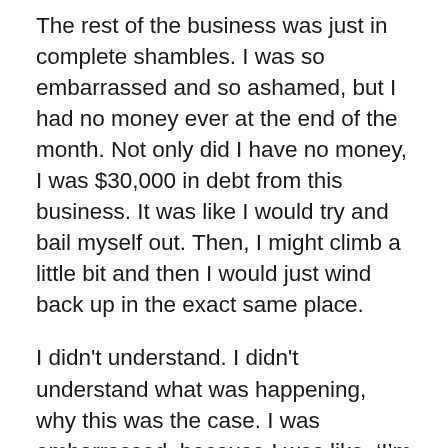The rest of the business was just in complete shambles. I was so embarrassed and so ashamed, but I had no money ever at the end of the month. Not only did I have no money, I was $30,000 in debt from this business. It was like I would try and bail myself out. Then, I might climb a little bit and then I would just wind back up in the exact same place.
I didn't understand. I didn't understand what was happening, why this was the case. I was embarrassed, because I was like, ‘I’m highly educated and apparently, I can’t do this. What’s wrong with me?’ I finally realized, ‘Oh, my gosh … Sometimes it’s funny. We’re so close to our